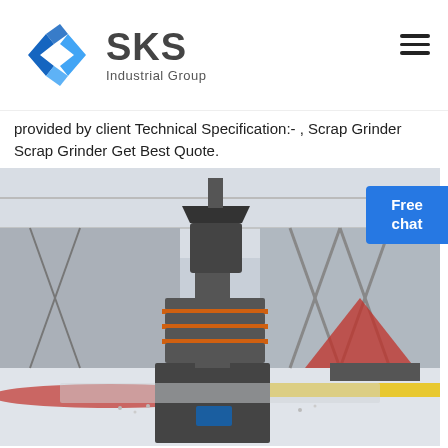[Figure (logo): SKS Industrial Group logo with blue angular S-shaped icon and dark gray text]
provided by client Technical Specification:- , Scrap Grinder Scrap Grinder Get Best Quote.
[Figure (photo): Industrial grinder machine inside a large factory/warehouse facility, showing a vertical multi-disc grinding machine on a white granule floor]
Free chat